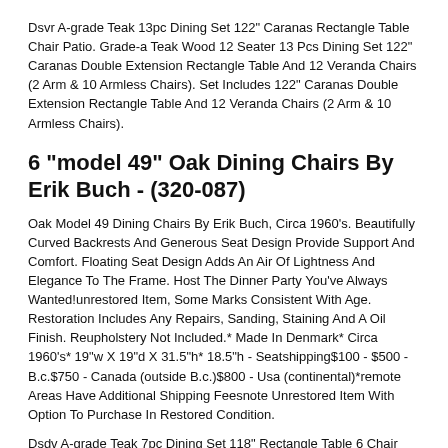Dsvr A-grade Teak 13pc Dining Set 122" Caranas Rectangle Table Chair Patio. Grade-a Teak Wood 12 Seater 13 Pcs Dining Set 122" Caranas Double Extension Rectangle Table And 12 Veranda Chairs (2 Arm & 10 Armless Chairs). Set Includes 122" Caranas Double Extension Rectangle Table And 12 Veranda Chairs (2 Arm & 10 Armless Chairs).
6 "model 49" Oak Dining Chairs By Erik Buch - (320-087)
Oak Model 49 Dining Chairs By Erik Buch, Circa 1960's. Beautifully Curved Backrests And Generous Seat Design Provide Support And Comfort. Floating Seat Design Adds An Air Of Lightness And Elegance To The Frame. Host The Dinner Party You've Always Wanted!unrestored Item, Some Marks Consistent With Age. Restoration Includes Any Repairs, Sanding, Staining And A Oil Finish. Reupholstery Not Included.* Made In Denmark* Circa 1960's* 19"w X 19"d X 31.5"h* 18.5"h - Seatshipping$100 - $500 - B.c.$750 - Canada (outside B.c.)$800 - Usa (continental)*remote Areas Have Additional Shipping Feesnote Unrestored Item With Option To Purchase In Restored Condition.
Dsdv A-grade Teak 7pc Dining Set 118" Rectangle Table 6 Chair Outdoor Patio. Grade-a Teak Wood 6 Seater 7 Pcs Dining Set 118" Double Extension Rectangle Table And 6 Devon Chair. Rectangle Oval Patio Outdoor Garden Yard Pool Backyard Sideboard Bench Fireplace Porch Furniture Teak Dinin...